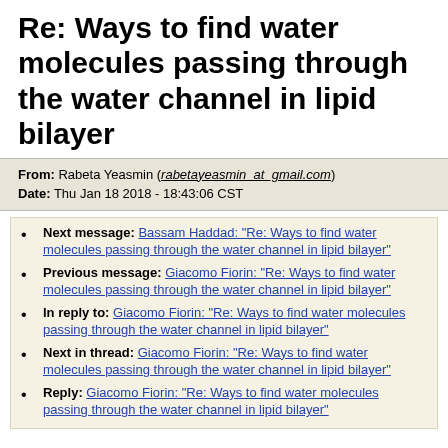Re: Ways to find water molecules passing through the water channel in lipid bilayer
From: Rabeta Yeasmin (rabetayeasmin_at_gmail.com)
Date: Thu Jan 18 2018 - 18:43:06 CST
Next message: Bassam Haddad: "Re: Ways to find water molecules passing through the water channel in lipid bilayer"
Previous message: Giacomo Fiorin: "Re: Ways to find water molecules passing through the water channel in lipid bilayer"
In reply to: Giacomo Fiorin: "Re: Ways to find water molecules passing through the water channel in lipid bilayer"
Next in thread: Giacomo Fiorin: "Re: Ways to find water molecules passing through the water channel in lipid bilayer"
Reply: Giacomo Fiorin: "Re: Ways to find water molecules passing through the water channel in lipid bilayer"